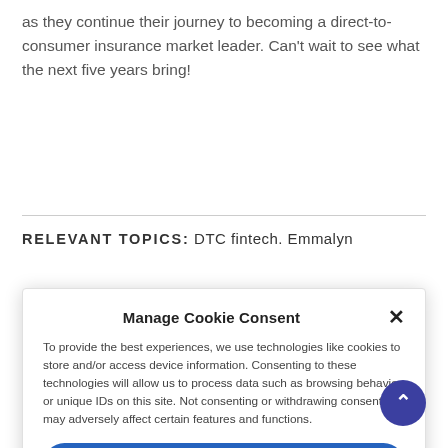as they continue their journey to becoming a direct-to-consumer insurance market leader. Can't wait to see what the next five years bring!
Relevant Topics: DTC fintech. Emmalyn
Manage Cookie Consent

To provide the best experiences, we use technologies like cookies to store and/or access device information. Consenting to these technologies will allow us to process data such as browsing behavior or unique IDs on this site. Not consenting or withdrawing consent, may adversely affect certain features and functions.

Accept